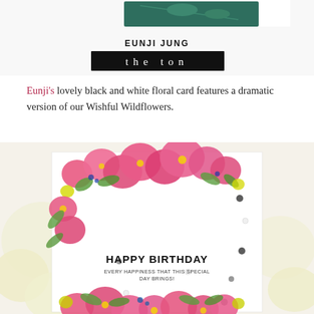[Figure (photo): Top portion showing Eunji Jung name and 'the ton' logo on dark background bar, with partial floral image above]
Eunji's lovely black and white floral card features a dramatic version of our Wishful Wildflowers.
[Figure (photo): Close-up photo of a handmade card with pink wildflowers (Wishful Wildflowers) in upper corners and bottom, with 'HAPPY BIRTHDAY / EVERY HAPPINESS THAT THIS SPECIAL DAY BRINGS!' sentiment in center, surrounded by yellow flowers and white/cream blossoms in background]